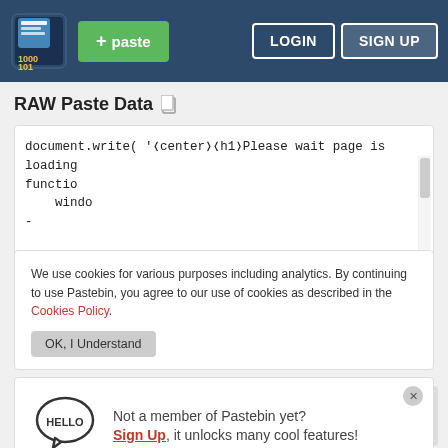[Figure (screenshot): Pastebin navigation bar with logo, green paste button, LOGIN and SIGN UP buttons]
RAW Paste Data
document.write( '<center><h1>Please wait page is loading
functio
  windo
-
We use cookies for various purposes including analytics. By continuing to use Pastebin, you agree to our use of cookies as described in the Cookies Policy. OK, I Understand
Not a member of Pastebin yet? Sign Up, it unlocks many cool features!